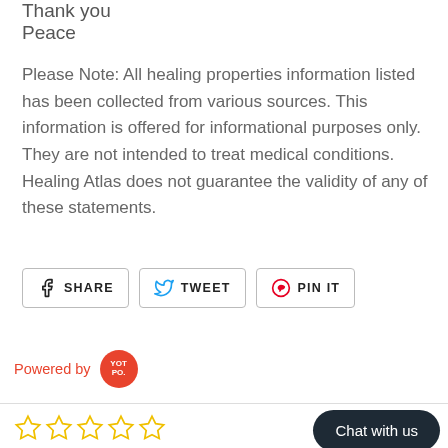Thank you
Peace
Please Note: All healing properties information listed has been collected from various sources. This information is offered for informational purposes only. They are not intended to treat medical conditions. Healing Atlas does not guarantee the validity of any of these statements.
[Figure (infographic): Three social sharing buttons: SHARE (Facebook), TWEET (Twitter), PIN IT (Pinterest)]
[Figure (logo): Powered by YotPo logo badge in red]
[Figure (infographic): Five empty star rating icons in yellow/gold outline]
[Figure (infographic): Dark rounded Chat with us button]